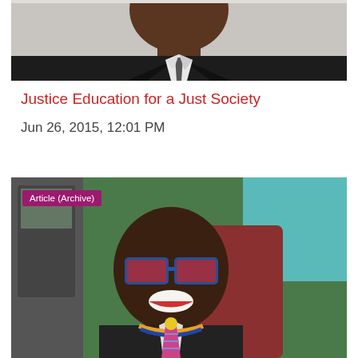[Figure (photo): Portrait photo of a man in a dark suit and white shirt with tie, cropped from the shoulders up with face partially visible at top]
Justice Education for a Just Society
Jun 26, 2015, 12:01 PM
[Figure (photo): Photo of a smiling man wearing blue-framed glasses and a colorful lanyard/medal, seated inside a vehicle. An 'Article (Archive)' badge appears in the top-left corner of the image.]